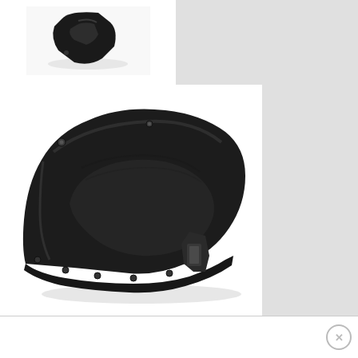[Figure (photo): Small black automotive bracket/support part shown from an angle, dark plastic or metal component]
[Figure (photo): Large black automotive fender liner / inner fender panel, dark plastic molded part with mounting holes and a bracket]